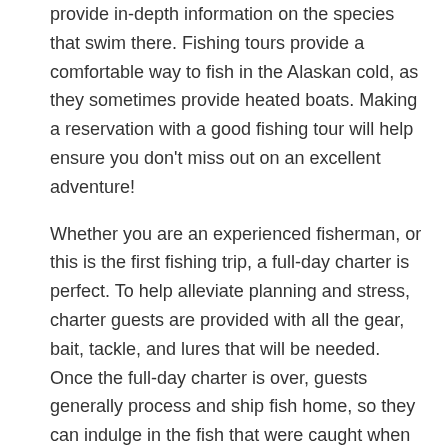provide in-depth information on the species that swim there. Fishing tours provide a comfortable way to fish in the Alaskan cold, as they sometimes provide heated boats. Making a reservation with a good fishing tour will help ensure you don't miss out on an excellent adventure!
Whether you are an experienced fisherman, or this is the first fishing trip, a full-day charter is perfect. To help alleviate planning and stress, charter guests are provided with all the gear, bait, tackle, and lures that will be needed. Once the full-day charter is over, guests generally process and ship fish home, so they can indulge in the fish that were caught when they get home.
Take In The Scenery And Wildlife
Fishing is more than just a fun excursion to try to catch a big fish; it's a chance to take in beautiful views of the local area and reconnect with nature. Away from the rush of city life, you can see beautiful wildlife in their natural habitat and take